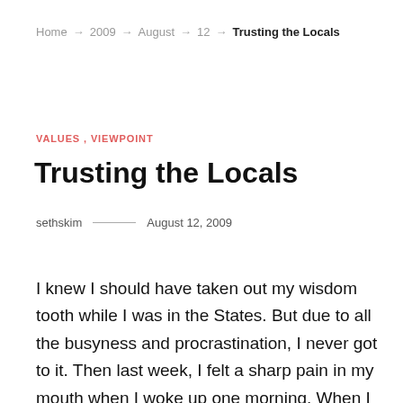Home → 2009 → August → 12 → Trusting the Locals
VALUES , VIEWPOINT
Trusting the Locals
sethskim — August 12, 2009
I knew I should have taken out my wisdom tooth while I was in the States. But due to all the busyness and procrastination, I never got to it. Then last week, I felt a sharp pain in my mouth when I woke up one morning. When I went to the bathroom, I noticed that my gums